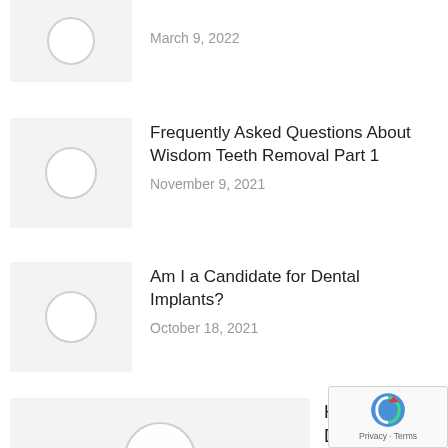[Figure (photo): Thumbnail placeholder image with circle icon, partially visible at top]
March 9, 2022
[Figure (photo): Thumbnail placeholder image with circle icon]
Frequently Asked Questions About Wisdom Teeth Removal Part 1
November 9, 2021
[Figure (photo): Thumbnail placeholder image with circle icon]
Am I a Candidate for Dental Implants?
October 18, 2021
[Figure (photo): Large thumbnail placeholder image with circle icon, partially visible]
How Your Dentist Can Help
February 2017